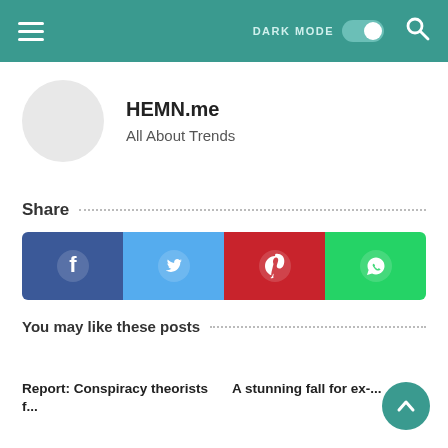DARK MODE [toggle]
HEMN.me
All About Trends
Share
[Figure (infographic): Social sharing buttons: Facebook (blue), Twitter (light blue), Pinterest (red), WhatsApp (green), each with respective icon]
You may like these posts
Report: Conspiracy theorists f...
A stunning fall for ex-...